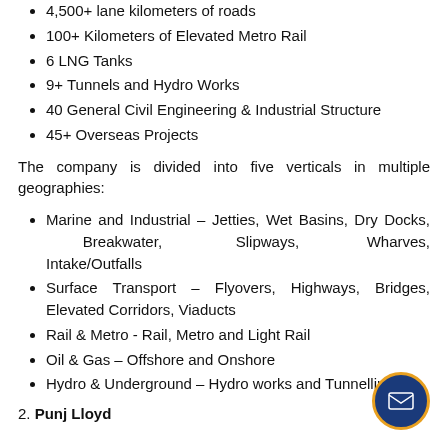4,500+ lane kilometers of roads
100+ Kilometers of Elevated Metro Rail
6 LNG Tanks
9+ Tunnels and Hydro Works
40 General Civil Engineering & Industrial Structure
45+ Overseas Projects
The company is divided into five verticals in multiple geographies:
Marine and Industrial – Jetties, Wet Basins, Dry Docks, Breakwater, Slipways, Wharves, Intake/Outfalls
Surface Transport – Flyovers, Highways, Bridges, Elevated Corridors, Viaducts
Rail & Metro - Rail, Metro and Light Rail
Oil & Gas – Offshore and Onshore
Hydro & Underground – Hydro works and Tunnelling
2. Punj Lloyd